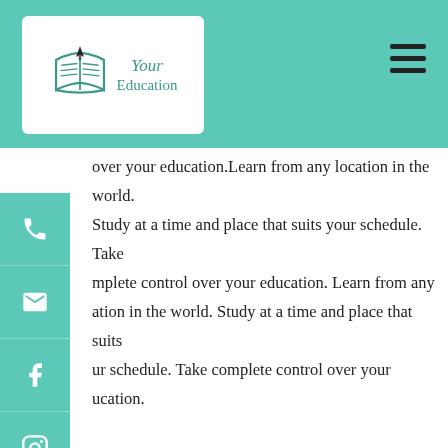[Figure (logo): Your Education logo with open book and pen nib icon, teal color scheme]
over your education.Learn from any location in the world. Study at a time and place that suits your schedule. Take complete control over your education. Learn from any location in the world. Study at a time and place that suits your schedule. Take complete control over your education.
Heading 5
Learn from any location in the world. Study at a time and place that suits your schedule. Take complete control over your education.Learn from any location in the world.